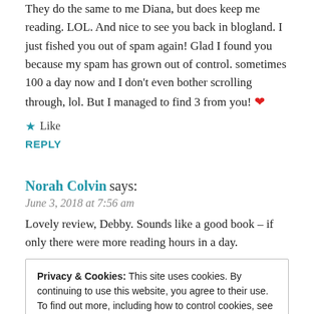They do the same to me Diana, but does keep me reading. LOL. And nice to see you back in blogland. I just fished you out of spam again! Glad I found you because my spam has grown out of control. sometimes 100 a day now and I don't even bother scrolling through, lol. But I managed to find 3 from you! ❤
★ Like
REPLY
Norah Colvin says:
June 3, 2018 at 7:56 am
Lovely review, Debby. Sounds like a good book – if only there were more reading hours in a day.
Privacy & Cookies: This site uses cookies. By continuing to use this website, you agree to their use. To find out more, including how to control cookies, see here: Cookie Policy
Close and accept